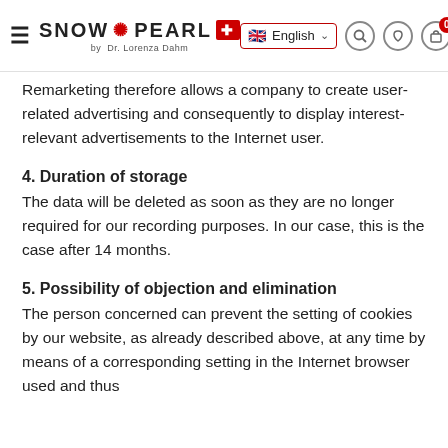SNOW PEARL by Dr. Lorenza Dahm — English
Remarketing therefore allows a company to create user-related advertising and consequently to display interest-relevant advertisements to the Internet user.
4. Duration of storage
The data will be deleted as soon as they are no longer required for our recording purposes. In our case, this is the case after 14 months.
5. Possibility of objection and elimination
The person concerned can prevent the setting of cookies by our website, as already described above, at any time by means of a corresponding setting in the Internet browser used and thus